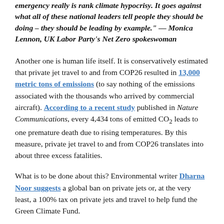emergency really is rank climate hypocrisy. It goes against what all of these national leaders tell people they should be doing – they should be leading by example." — Monica Lennon, UK Labor Party's Net Zero spokeswoman
Another one is human life itself. It is conservatively estimated that private jet travel to and from COP26 resulted in 13,000 metric tons of emissions (to say nothing of the emissions associated with the thousands who arrived by commercial aircraft). According to a recent study published in Nature Communications, every 4,434 tons of emitted CO₂ leads to one premature death due to rising temperatures. By this measure, private jet travel to and from COP26 translates into about three excess fatalities.
What is to be done about this? Environmental writer Dharna Noor suggests a global ban on private jets or, at the very least, a 100% tax on private jets and travel to help fund the Green Climate Fund.